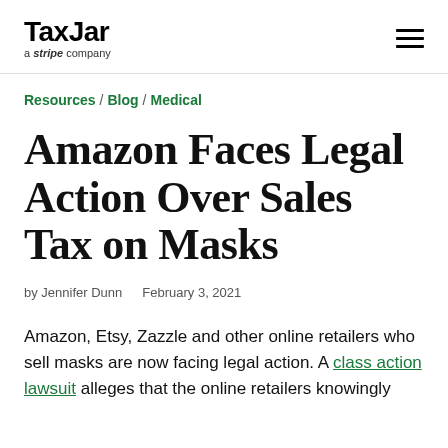TaxJar — a stripe company
Resources / Blog / Medical
Amazon Faces Legal Action Over Sales Tax on Masks
by Jennifer Dunn    February 3, 2021
Amazon, Etsy, Zazzle and other online retailers who sell masks are now facing legal action. A class action lawsuit alleges that the online retailers knowingly